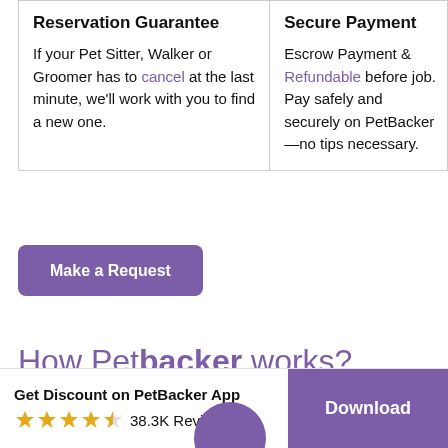Reservation Guarantee
If your Pet Sitter, Walker or Groomer has to cancel at the last minute, we'll work with you to find a new one.
Secure Payment
Escrow Payment & Refundable before job. Pay safely and securely on PetBacker—no tips necessary.
Make a Request
How Petbacker works?
Get Discount on PetBacker App
38.3K Reviews
Download